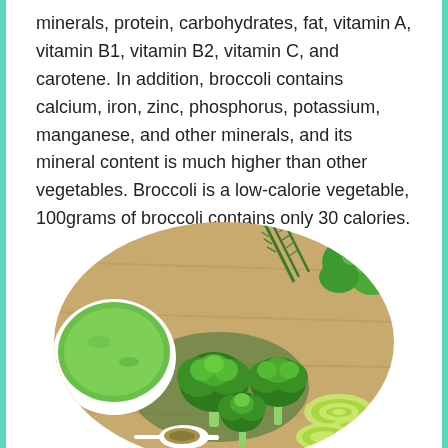minerals, protein, carbohydrates, fat, vitamin A, vitamin B1, vitamin B2, vitamin C, and carotene. In addition, broccoli contains calcium, iron, zinc, phosphorus, potassium, manganese, and other minerals, and its mineral content is much higher than other vegetables. Broccoli is a low-calorie vegetable, 100grams of broccoli contains only 30 calories.
[Figure (photo): A circular cropped photo showing fresh broccoli florets, sliced leek, green herbs (rosemary, parsley), a bowl of green broccoli soup, and a spoon with dried herbs arranged on a wooden cutting board.]